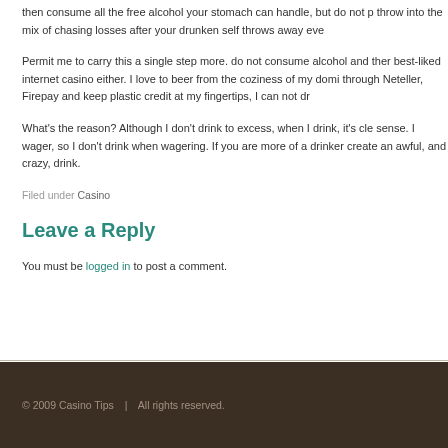then consume all the free alcohol your stomach can handle, but do not p throw into the mix of chasing losses after your drunken self throws away eve
Permit me to carry this a single step more. do not consume alcohol and ther best-liked internet casino either. I love to beer from the coziness of my domi through Neteller, Firepay and keep plastic credit at my fingertips, I can not dr
What's the reason? Although I don't drink to excess, when I drink, it's cle sense. I wager, so I don't drink when wagering. If you are more of a drinker create an awful, and crazy, drink.
Filed under Casino
Leave a Reply
You must be logged in to post a comment.
© 2009 Casino Tips   |   All rights reserved.